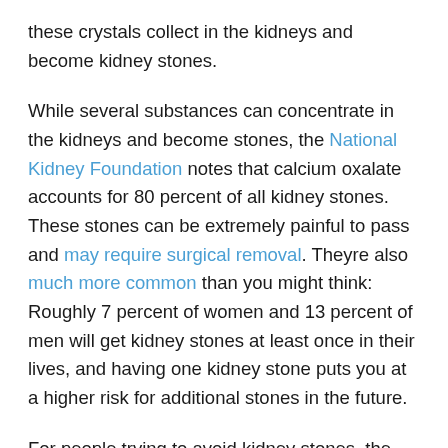these crystals collect in the kidneys and become kidney stones.
While several substances can concentrate in the kidneys and become stones, the National Kidney Foundation notes that calcium oxalate accounts for 80 percent of all kidney stones. These stones can be extremely painful to pass and may require surgical removal. Theyre also much more common than you might think: Roughly 7 percent of women and 13 percent of men will get kidney stones at least once in their lives, and having one kidney stone puts you at a higher risk for additional stones in the future.
For people trying to avoid kidney stones, the bad news is that almonds are very high in oxalate, so you may want to add them to your list of the worst foods for your kidneys. The University of Chicago noted that individuals eating a low-